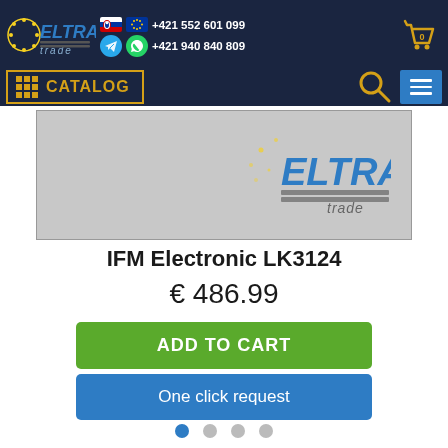ELTRA trade — +421 552 601 099 — +421 940 840 809 — CATALOG
[Figure (screenshot): Product image placeholder with ELTRA trade logo watermark on grey background]
IFM Electronic LK3124
€ 486.99
ADD TO CART
One click request